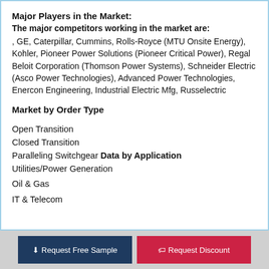Major Players in the Market:
The major competitors working in the market are:
, GE, Caterpillar, Cummins, Rolls-Royce (MTU Onsite Energy), Kohler, Pioneer Power Solutions (Pioneer Critical Power), Regal Beloit Corporation (Thomson Power Systems), Schneider Electric (Asco Power Technologies), Advanced Power Technologies, Enercon Engineering, Industrial Electric Mfg, Russelectric
Market by Order Type
Open Transition
Closed Transition
Paralleling Switchgear Data by Application
Utilities/Power Generation
Oil & Gas
IT & Telecom